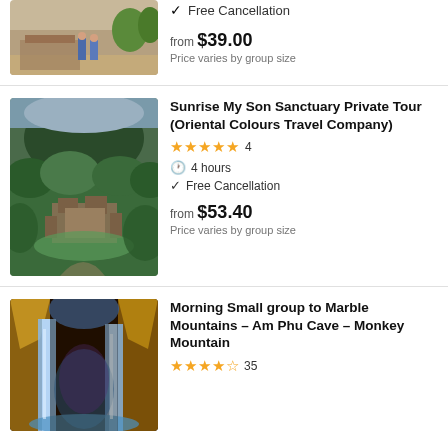[Figure (photo): Partial view of tourists at a heritage/temple site, two people in blue shirts visible]
✓ Free Cancellation
from $39.00
Price varies by group size
Sunrise My Son Sanctuary Private Tour (Oriental Colours Travel Company)
★★★★★ 4
4 hours
✓ Free Cancellation
from $53.40
Price varies by group size
[Figure (photo): Aerial view of My Son Sanctuary ruins surrounded by dense green jungle and mountains]
Morning Small group to Marble Mountains - Am Phu Cave - Monkey Mountain
[Figure (photo): Colorful illuminated cave with waterfall inside Marble Mountains / Am Phu Cave]